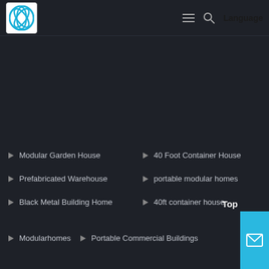Logo | Menu | Search | Language
[Figure (logo): Circular blue logo with white diagonal lines on white background]
Modular Garden House
40 Foot Container House
Prefabricated Warehouse
portable modular homes
Black Metal Building Home
40ft container house
Modularhomes
Portable Commercial Buildings
Top
[Figure (illustration): Cyan/blue mail envelope icon button]